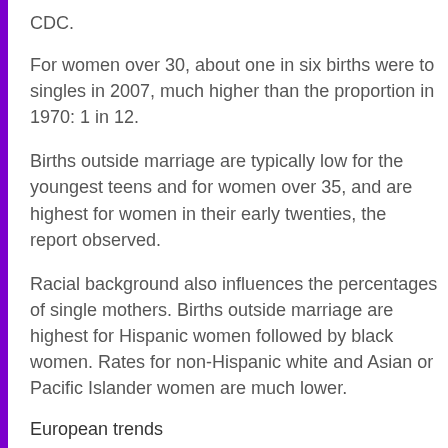CDC.
For women over 30, about one in six births were to singles in 2007, much higher than the proportion in 1970: 1 in 12.
Births outside marriage are typically low for the youngest teens and for women over 35, and are highest for women in their early twenties, the report observed.
Racial background also influences the percentages of single mothers. Births outside marriage are highest for Hispanic women followed by black women. Rates for non-Hispanic white and Asian or Pacific Islander women are much lower.
European trends